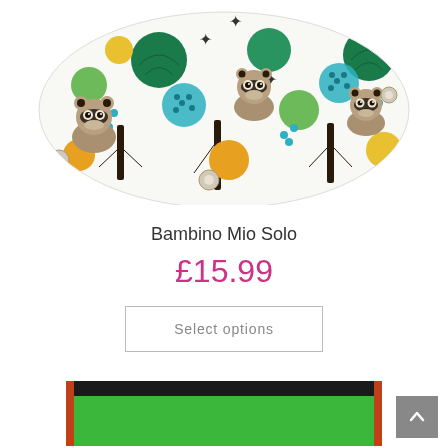[Figure (photo): Close-up photo of a Bambino Mio Solo cloth diaper/nappy with a white background pattern featuring raccoons, trees in green and teal, and orange and yellow circular decorations]
Bambino Mio Solo
£15.99
Select options
[Figure (photo): Partial view of a green product (likely a wet bag or storage bag) at the bottom of the page]